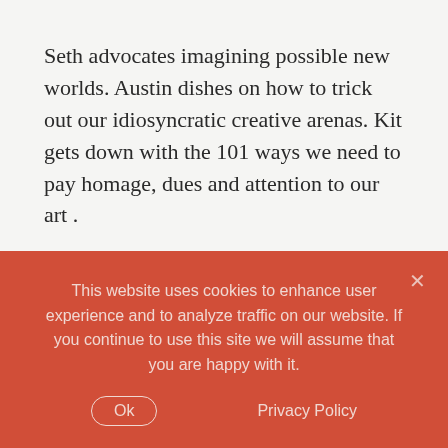Seth advocates imagining possible new worlds. Austin dishes on how to trick out our idiosyncratic creative arenas. Kit gets down with the 101 ways we need to pay homage, dues and attention to our art .
If I could make a Venn Diagram of Seth/Austin/Kit I would get the kernel that is this post, the seminal coalescence that resonates and feeds me.
Let's work backwards, because you might not know what a paracosm is, any more than I did before I first read about it. Just understand that it's a fantasy
This website uses cookies to enhance user experience and to analyze traffic on our website. If you continue to use this site we will assume that you are happy with it.
Ok   Privacy Policy